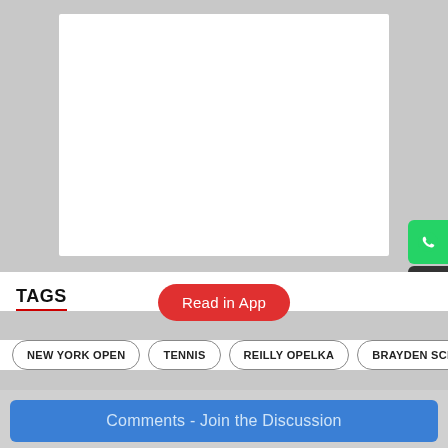[Figure (photo): Gray background with a white rectangle placeholder image area in the center]
TAGS
Read in App
NEW YORK OPEN
TENNIS
REILLY OPELKA
BRAYDEN SCHNUR
Comments - Join the Discussion